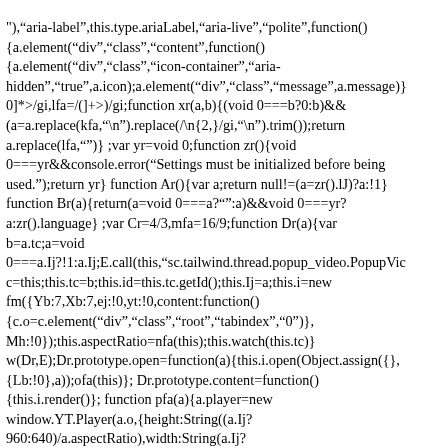"),"aria-label",this.type.ariaLabel,"aria-live","polite",function(){a.element("div","class","content",function(){a.element("div","class","icon-container","aria-hidden","true",a.icon);a.element("div","class","message",a.message)}0]*>/gi,lfa=/(]+>)/gi;function xr(a,b){(void 0===b?0:b)&&(a=a.replace(kfa,"\n").replace(/\n{2,}/gi,"\n").trim());return a.replace(lfa,"")} ;var yr=void 0;function zr(){void 0===yr&&console.error("Settings must be initialized before being used.");return yr} function Ar(){var a;return null!=(a=zr().lJ)?a:!1} function Br(a){return(a=void 0===a?"":a)&&void 0===yr?a:zr().language} ;var Cr=4/3,mfa=16/9;function Dr(a){var b=a.tc;a=void 0===a.Ij?!1:a.Ij;E.call(this,"sc.tailwind.thread.popup_video.PopupVic c=this;this.tc=b;this.id=this.tc.getId();this.Ij=a;this.i=new fm({Yb:7,Xb:7,ej:!0,yt:!0,content:function(){c.o=c.element("div","class","root","tabindex","0")},Mh:!0});this.aspectRatio=nfa(this);this.watch(this.tc)} w(Dr,E);Dr.prototype.open=function(a){this.i.open(Object.assign({},{Lb:!0},a));ofa(this)}; Dr.prototype.content=function(){this.i.render()}; function pfa(a){a.player=new window.YT.Player(a.o,{height:String((a.Ij?960:640)/a.aspectRatio),width:String(a.Ij?